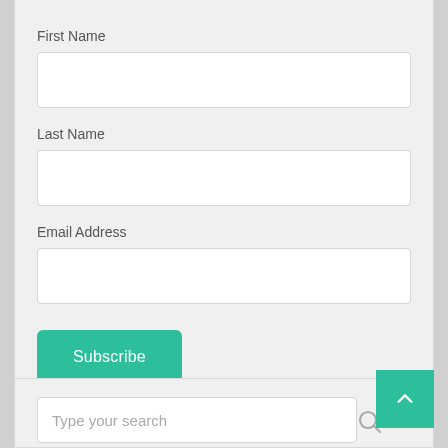First Name
[Figure (screenshot): Empty text input field for First Name]
Last Name
[Figure (screenshot): Empty text input field for Last Name]
Email Address
[Figure (screenshot): Empty text input field for Email Address]
[Figure (screenshot): Green Subscribe button]
[Figure (screenshot): Green back-to-top button with upward chevron arrow]
Type your search